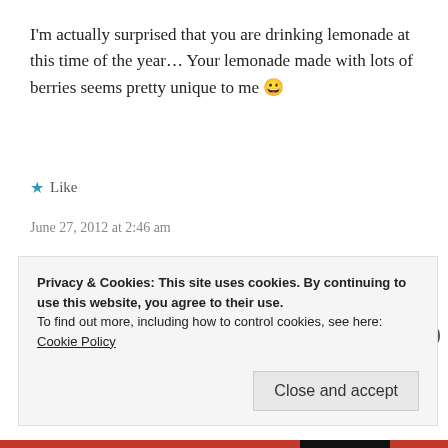I'm actually surprised that you are drinking lemonade at this time of the year... Your lemonade made with lots of berries seems pretty unique to me 😀
★ Like
June 27, 2012 at 2:46 am
« REPLY
[Figure (photo): Circular avatar photo of a blonde woman with green border]
Privacy & Cookies: This site uses cookies. By continuing to use this website, you agree to their use.
To find out more, including how to control cookies, see here:
Cookie Policy
Close and accept